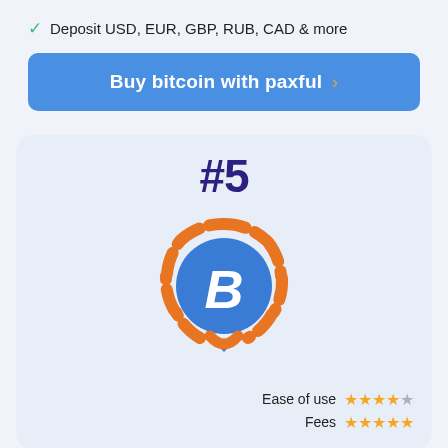✓ Deposit USD, EUR, GBP, RUB, CAD & more
Buy bitcoin with paxful ›
#5
[Figure (logo): Bitcoin location pin logo with orange dashed ring, blue circle center with B symbol, and blue downward pointer]
Ease of use ★★★★☆
Fees ★★★★★